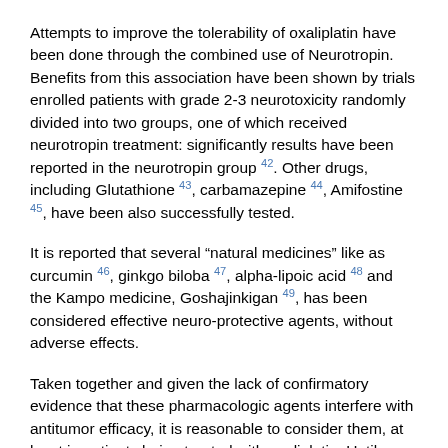Attempts to improve the tolerability of oxaliplatin have been done through the combined use of Neurotropin. Benefits from this association have been shown by trials enrolled patients with grade 2-3 neurotoxicity randomly divided into two groups, one of which received neurotropin treatment: significantly results have been reported in the neurotropin group 42. Other drugs, including Glutathione 43, carbamazepine 44, Amifostine 45, have been also successfully tested.
It is reported that several "natural medicines" like as curcumin 46, ginkgo biloba 47, alpha-lipoic acid 48 and the Kampo medicine, Goshajinkigan 49, has been considered effective neuro-protective agents, without adverse effects.
Taken together and given the lack of confirmatory evidence that these pharmacologic agents interfere with antitumor efficacy, it is reasonable to consider them, at least in patients being treated with oxaliplatin. Until further information is available, we would not pursue this approach in the adjuvant setting. Accrual to a confirmatory randomized, placebo-controlled trial in patients receiving adjuvant therapy for colon cancer has been completed by the North Central Cancer Treatment Group (NCCTC, NCT00316914), which should settle the question of whether this